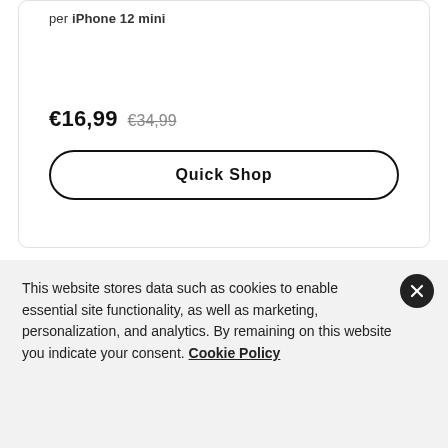per iPhone 12 mini
€16,99  €34,99
Quick Shop
This website stores data such as cookies to enable essential site functionality, as well as marketing, personalization, and analytics. By remaining on this website you indicate your consent. Cookie Policy